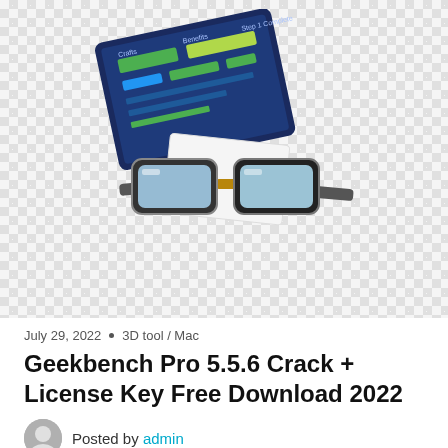[Figure (illustration): 3D glasses with a tablet/screen showing colorful UI elements, displayed on a checkered transparent background]
July 29, 2022  •  3D tool / Mac
Geekbench Pro 5.5.6 Crack + License Key Free Download 2022
Posted by admin
Table of Contents
1. Geekbench Pro 5.5.6 Crack + License Key Free Download 2022
1.1. Geekbench Pro 5.5.6 Crack Full Version Free